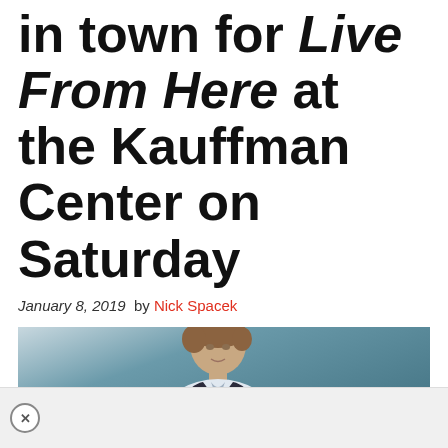in town for Live From Here at the Kauffman Center on Saturday
January 8, 2019  by Nick Spacek
[Figure (photo): A young man with short brown hair wearing a dark blazer over a light blue shirt, photographed against a teal/blue-grey background, looking slightly to his left.]